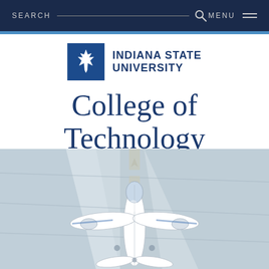SEARCH  MENU
[Figure (logo): Indiana State University logo: blue square with maple leaf icon, next to bold text 'INDIANA STATE UNIVERSITY']
College of Technology
[Figure (photo): Aerial view of a small white twin-engine aircraft parked on a tarmac/runway, shot from above looking down at the nose and wings, with concrete surface visible]